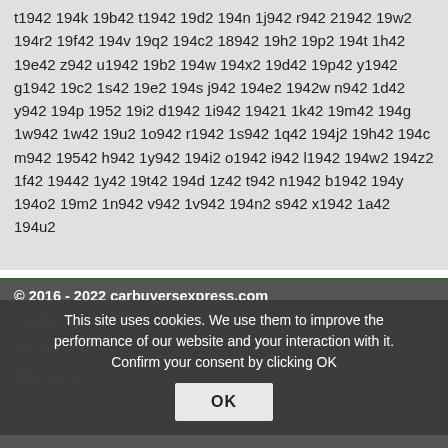t1942 194k 19b42 t1942 19d2 194n 1j942 r942 21942 19w2 194r2 19f42 194v 19q2 194c2 18942 19h2 19p2 194t 1h42 19e42 z942 u1942 19b2 194w 194x2 19d42 19p42 y1942 g1942 19c2 1s42 19e2 194s j942 194e2 1942w n942 1d42 y942 194p 1952 19i2 d1942 1i942 19421 1k42 19m42 194g 1w942 1w42 19u2 1o942 r1942 1s942 1q42 194j2 19h42 194c m942 19542 h942 1y942 194i2 o1942 i942 l1942 194w2 194z2 1f42 19442 1y42 19t42 194d 1z42 t942 n1942 b1942 194y 194o2 19m2 1n942 v942 1v942 194n2 s942 x1942 1a42 194u2
© 2016 - 2022 carbuyersexpress.com
This site uses cookies. We use them to improve the performance of our website and your interaction with it. Confirm your consent by clicking OK
Contact us
Our partners
Sitemap xml